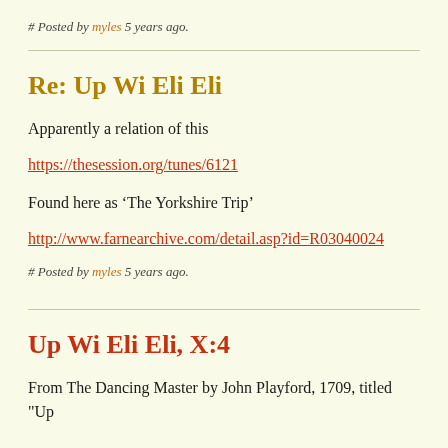# Posted by myles 5 years ago.
Re: Up Wi Eli Eli
Apparently a relation of this
https://thesession.org/tunes/6121
Found here as ‘The Yorkshire Trip’
http://www.farnearchive.com/detail.asp?id=R03040024
# Posted by myles 5 years ago.
Up Wi Eli Eli, X:4
From The Dancing Master by John Playford, 1709, titled "Up